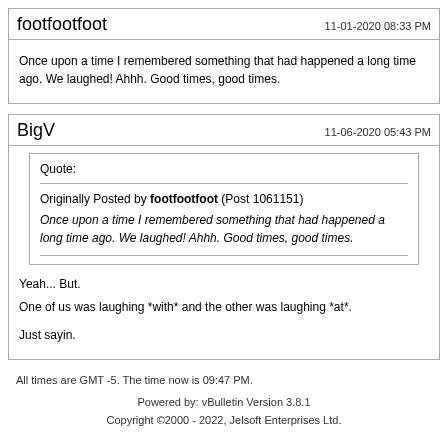footfootfoot
11-01-2020 08:33 PM
Once upon a time I remembered something that had happened a long time ago. We laughed! Ahhh. Good times, good times.
BigV
11-06-2020 05:43 PM
Quote:
Originally Posted by footfootfoot (Post 1061151)
Once upon a time I remembered something that had happened a long time ago. We laughed! Ahhh. Good times, good times.
Yeah... But.
One of us was laughing *with* and the other was laughing *at*.
Just sayin.
All times are GMT -5. The time now is 09:47 PM.
Powered by: vBulletin Version 3.8.1
Copyright ©2000 - 2022, Jelsoft Enterprises Ltd.